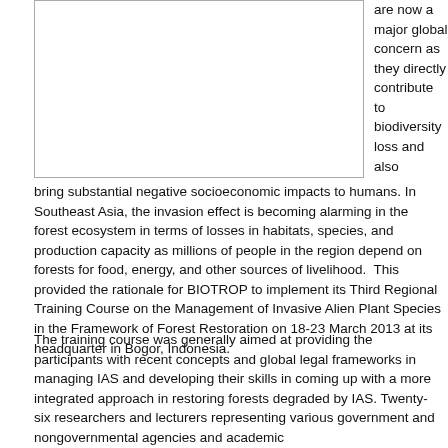[Figure (other): Empty bordered box, likely a figure placeholder]
are now a major global concern as they directly contribute to biodiversity loss and also bring substantial negative socioeconomic impacts to humans. In Southeast Asia, the invasion effect is becoming alarming in the forest ecosystem in terms of losses in habitats, species, and production capacity as millions of people in the region depend on forests for food, energy, and other sources of livelihood.  This provided the rationale for BIOTROP to implement its Third Regional Training Course on the Management of Invasive Alien Plant Species in the Framework of Forest Restoration on 18-23 March 2013 at its headquarter in Bogor, Indonesia.
The training course was generally aimed at providing the participants with recent concepts and global legal frameworks in managing IAS and developing their skills in coming up with a more integrated approach in restoring forests degraded by IAS. Twenty-six researchers and lecturers representing various government and nongovernmental agencies and academic